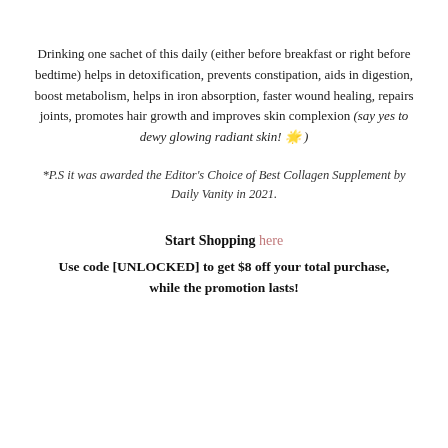Drinking one sachet of this daily (either before breakfast or right before bedtime) helps in detoxification, prevents constipation, aids in digestion, boost metabolism, helps in iron absorption, faster wound healing, repairs joints, promotes hair growth and improves skin complexion (say yes to dewy glowing radiant skin! 🌟 )
*P.S it was awarded the Editor's Choice of Best Collagen Supplement by Daily Vanity in 2021.
Start Shopping here
Use code [UNLOCKED] to get $8 off your total purchase, while the promotion lasts!